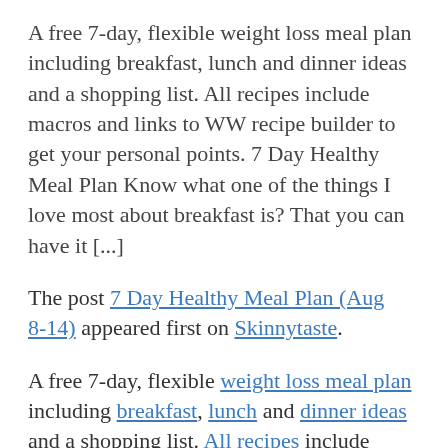A free 7-day, flexible weight loss meal plan including breakfast, lunch and dinner ideas and a shopping list. All recipes include macros and links to WW recipe builder to get your personal points. 7 Day Healthy Meal Plan Know what one of the things I love most about breakfast is? That you can have it [...]
The post 7 Day Healthy Meal Plan (Aug 8-14) appeared first on Skinnytaste.
A free 7-day, flexible weight loss meal plan including breakfast, lunch and dinner ideas and a shopping list. All recipes include macros and